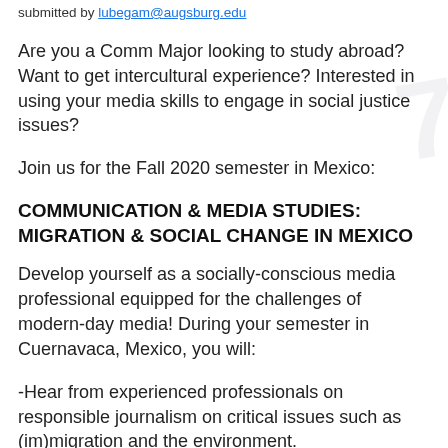submitted by lubegam@augsburg.edu
Are you a Comm Major looking to study abroad? Want to get intercultural experience? Interested in using your media skills to engage in social justice issues?
Join us for the Fall 2020 semester in Mexico:
COMMUNICATION & MEDIA STUDIES: MIGRATION & SOCIAL CHANGE IN MEXICO
Develop yourself as a socially-conscious media professional equipped for the challenges of modern-day media! During your semester in Cuernavaca, Mexico, you will:
-Hear from experienced professionals on responsible journalism on critical issues such as (im)migration and the environment.
-Listen to the stories from those traditionally